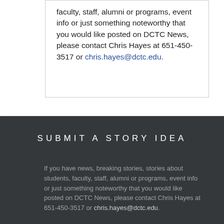faculty, staff, alumni or programs, event info or just something noteworthy that you would like posted on DCTC News, please contact Chris Hayes at 651-450-3517 or chris.hayes@dctc.edu.
SUBMIT A STORY IDEA
If you have news, breaking stories, stories about students, faculty, staff, alumni or programs, event info or just something noteworthy that you would like posted on DCTC News, please contact Chris Hayes at 651-450-3517 or chris.hayes@dctc.edu.